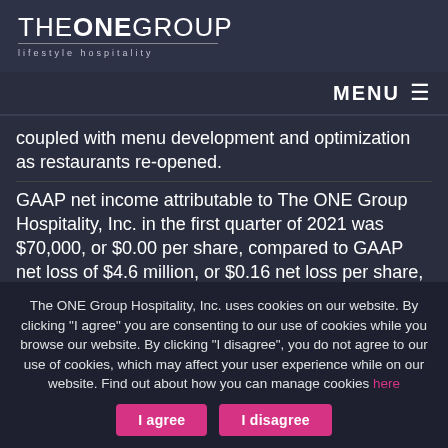THE ONE GROUP lifestyle hospitality
MENU ≡
coupled with menu development and optimization as restaurants re-opened.
GAAP net income attributable to The ONE Group Hospitality, Inc. in the first quarter of 2021 was $70,000, or $0.00 per share, compared to GAAP net loss of $4.6 million, or $0.16 net loss per share, in the
The ONE Group Hospitality, Inc. uses cookies on our website. By clicking "I agree" you are consenting to our use of cookies while you browse our website. By clicking "I disagree", you do not agree to our use of cookies, which may affect your user experience while on our website. Find out about how you can manage cookies here